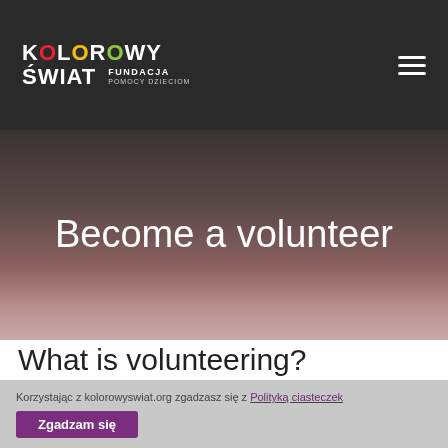[Figure (logo): Kolorowy Świat Fundacja Pomocy Dzieciom logo with colorful dots]
Become a volunteer
What is volunteering?
Korzystając z kolorowyswiat.org zgadzasz się z Polityką ciasteczek
Zgadzam się